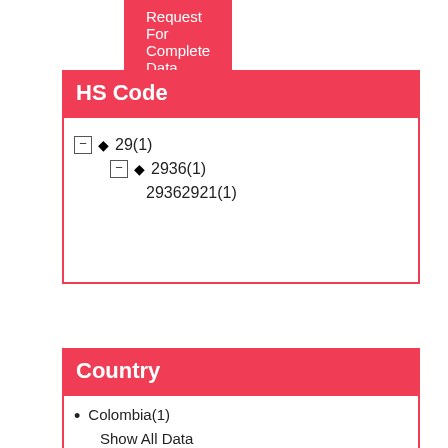Request For Complete Data
HS Code
29(1)
2936(1)
29362921(1)
Country
Colombia(1)
Show All Data